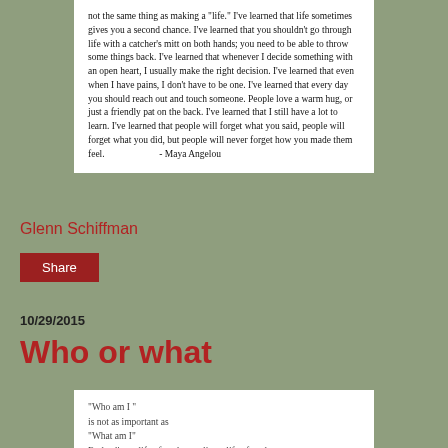[Figure (other): White box containing a Maya Angelou quote about life lessons, ending with attribution '- Maya Angelou']
Glenn Schiffman
Share
10/29/2015
Who or what
[Figure (other): White box containing a quote starting with 'Who am I' is not as important as 'What am I' By leading a life of truth, you live a life of truth,]